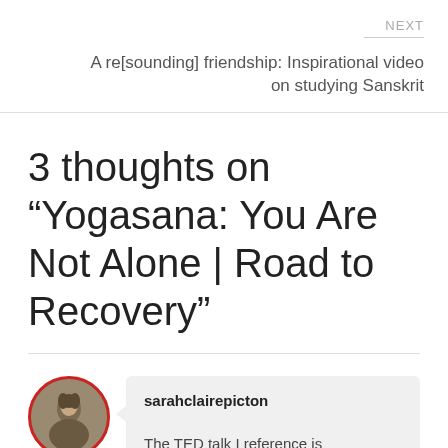NEXT
A re[sounding] friendship: Inspirational video on studying Sanskrit
3 thoughts on “Yogasana: You Are Not Alone | Road to Recovery”
sarahclairepicton
The TED talk I reference is